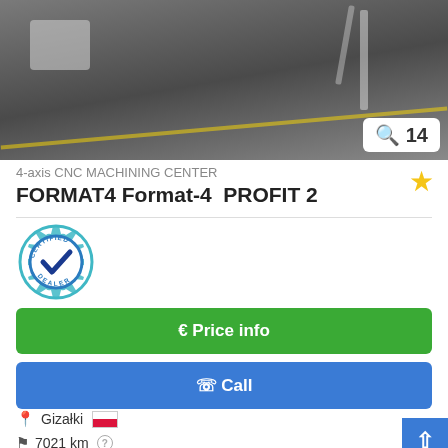[Figure (photo): Partial view of a 4-axis CNC machining center on a workshop floor, image counter showing 14 photos]
4-axis CNC MACHINING CENTER
FORMAT4 Format-4  PROFIT 2
[Figure (logo): Certified Dealer badge — teal gear with checkmark and text CERTIFIED DEALER]
€ Price info
✆ Call
Gizałki [Poland flag]
7021 km
2005
Save search query
excellent (used)